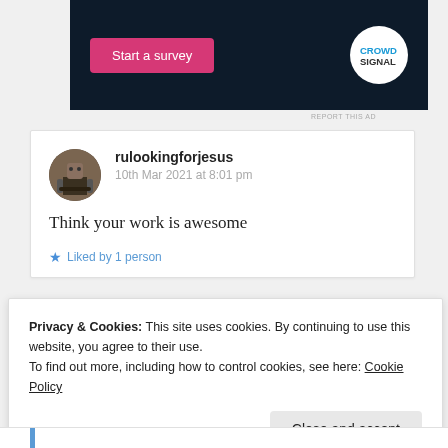[Figure (screenshot): Ad banner with dark navy background showing a pink 'Start a survey' button and Crowdsignal logo on white circle]
REPORT THIS AD
rulookingforjesus
10th Mar 2021 at 8:01 pm
Think your work is awesome
★ Liked by 1 person
Privacy & Cookies: This site uses cookies. By continuing to use this website, you agree to their use.
To find out more, including how to control cookies, see here: Cookie Policy
Close and accept